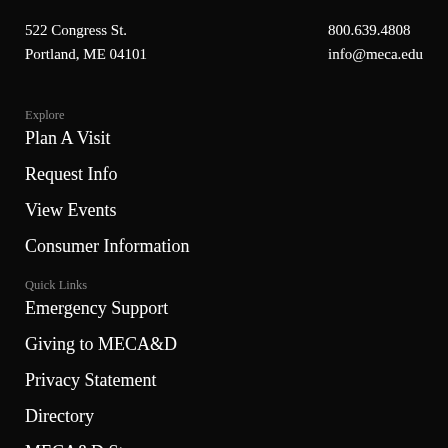522 Congress St.
Portland, ME 04101
800.639.4808
info@meca.edu
Explore
Plan A Visit
Request Info
View Events
Consumer Information
Quick Links
Emergency Support
Giving to MECA&D
Privacy Statement
Directory
MECA&D Store